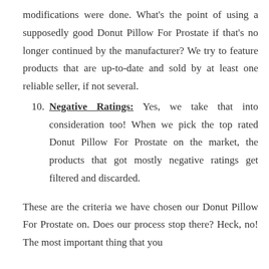modifications were done. What's the point of using a supposedly good Donut Pillow For Prostate if that's no longer continued by the manufacturer? We try to feature products that are up-to-date and sold by at least one reliable seller, if not several.
10. Negative Ratings: Yes, we take that into consideration too! When we pick the top rated Donut Pillow For Prostate on the market, the products that got mostly negative ratings get filtered and discarded.
These are the criteria we have chosen our Donut Pillow For Prostate on. Does our process stop there? Heck, no! The most important thing that you